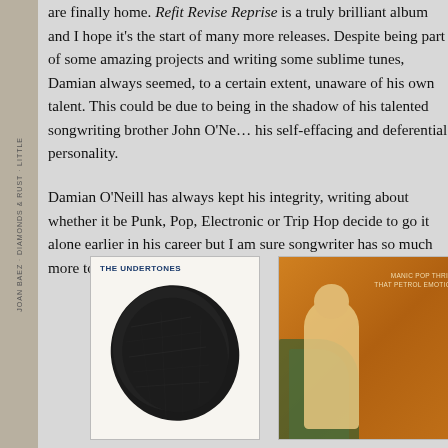are finally home. Refit Revise Reprise is a truly brilliant album and I hope it's the start of many more releases. Despite being part of some amazing projects and writing some sublime tunes, Damian always seemed, to a certain extent, unaware of his own talent. This could be due to being in the shadow of his talented songwriting brother John O'Neill, or maybe it's just his self-effacing and deferential personality.
Damian O'Neill has always kept his integrity, writing music he cares about whether it be Punk, Pop, Electronic or Trip Hop. I wish he had decided to go it alone earlier in his career but I am sure this talented songwriter has so much more to offer.
[Figure (photo): The Undertones album cover — black and white photo of a dark rock/stone shape with band members visible, white background with 'THE UNDERTONES' text in blue at top left]
[Figure (photo): That Petrol Emotion 'Manic Pop Thrill' album cover — orange/golden background with a figure, text reads 'MANIC POP THRILL THAT PETROL EMOTION']